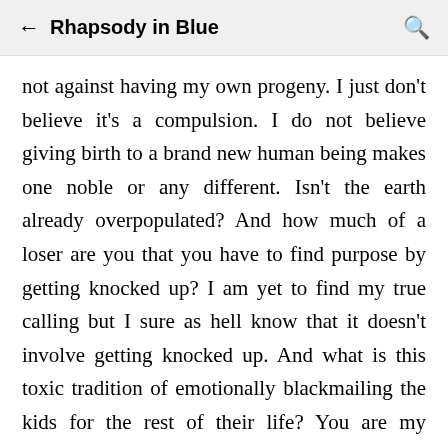← Rhapsody in Blue 🔍
not against having my own progeny. I just don't believe it's a compulsion. I do not believe giving birth to a brand new human being makes one noble or any different. Isn't the earth already overpopulated? And how much of a loser are you that you have to find purpose by getting knocked up? I am yet to find my true calling but I sure as hell know that it doesn't involve getting knocked up. And what is this toxic tradition of emotionally blackmailing the kids for the rest of their life? You are my property because I chose to give birth to you? And seriously, why do people think their life